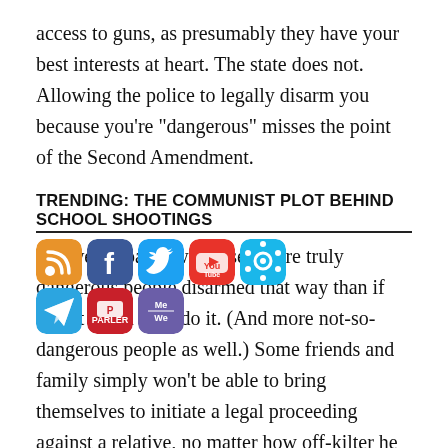access to guns, as presumably they have your best interests at heart. The state does not. Allowing the police to legally disarm you because you’re “dangerous” misses the point of the Second Amendment.
TRENDING: THE COMMUNIST PLOT BEHIND SCHOOL SHOOTINGS
[Figure (infographic): Social media share icons: RSS (orange), Facebook (blue), Twitter (teal), YouTube (red/white), Vimeo (teal), Telegram (blue), Parler (red), MeWe (purple/blue)]
But we probably would see more truly dangerous people disarmed that way than if we let loved ones do it. (And more not-so-dangerous people as well.) Some friends and family simply won’t be able to bring themselves to initiate a legal proceeding against a relative, no matter how off-kilter he is.
Time’s running out and there’s still no deal on the key provisions. Is the committee getting ready to … drop the